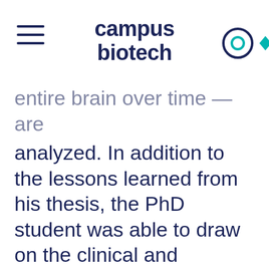campus biotech
entire brain over time — are analyzed. In addition to the lessons learned from his thesis, the PhD student was able to draw on the clinical and technical know-how of his colleagues Elenor Morgenroth and Maria Giulia Preti.
“Our aim was to see where